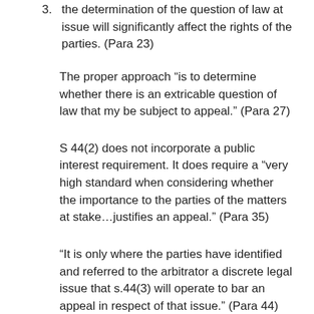3. the determination of the question of law at issue will significantly affect the rights of the parties. (Para 23)
The proper approach “is to determine whether there is an extricable question of law that my be subject to appeal.” (Para 27)
S 44(2) does not incorporate a public interest requirement. It does require a “very high standard when considering whether the importance to the parties of the matters at stake…justifies an appeal.” (Para 35)
“It is only where the parties have identified and referred to the arbitrator a discrete legal issue that s.44(3) will operate to bar an appeal in respect of that issue.” (Para 44) The Chief Justice notes that s 44(3) is unique to Alberta.